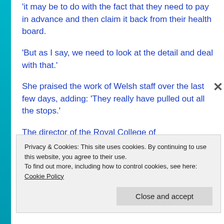‘it may be to do with the fact that they need to pay in advance and then claim it back from their health board.
‘But as I say, we need to look at the detail and deal with that.’
She praised the work of Welsh staff over the last few days, adding: ‘They really have pulled out all the stops.’
The director of the Royal College of
Privacy & Cookies: This site uses cookies. By continuing to use this website, you agree to their use.
To find out more, including how to control cookies, see here: Cookie Policy
Close and accept